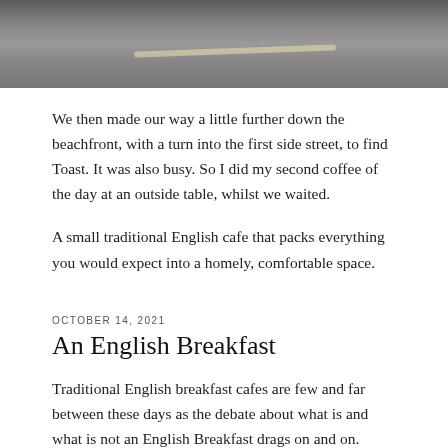[Figure (photo): Aerial or close-up photograph of a street/road surface, appearing grayish-brown with a diagonal road marking line visible.]
We then made our way a little further down the beachfront, with a turn into the first side street, to find Toast. It was also busy. So I did my second coffee of the day at an outside table, whilst we waited.
A small traditional English cafe that packs everything you would expect into a homely, comfortable space.
OCTOBER 14, 2021
An English Breakfast
Traditional English breakfast cafes are few and far between these days as the debate about what is and what is not an English Breakfast drags on and on.